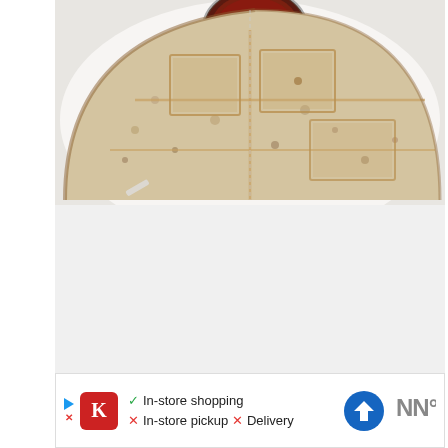[Figure (photo): Overhead photo of a folded flatbread/quesadilla with waffle-iron grid marks on its surface, placed on a white plate, with a small glass bowl of dark dipping sauce (likely soy sauce or syrup) at the top center. The flatbread is semicircular in shape. The background is white.]
[Figure (infographic): Advertisement bar showing Kroger store logo (red box with white K), checkmark for In-store shopping, X marks for In-store pickup and Delivery, a blue navigation/direction sign icon, and a Walmart logo on the right.]